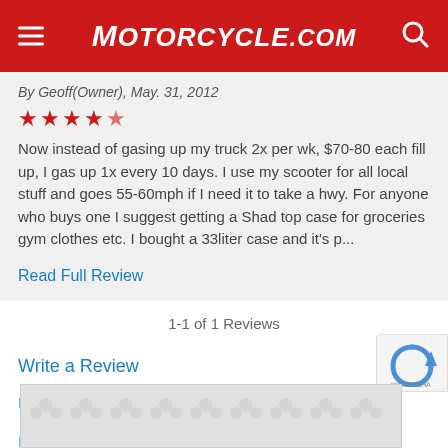Motorcycle.com
By Geoff(Owner), May. 31, 2012
★★★★½
Now instead of gasing up my truck 2x per wk, $70-80 each fill up, I gas up 1x every 10 days. I use my scooter for all local stuff and goes 55-60mph if I need it to take a hwy. For anyone who buys one I suggest getting a Shad top case for groceries gym clothes etc. I bought a 33liter case and it's p...
Read Full Review
1-1 of 1 Reviews
Write a Review
Upload Photos
Upload Videos
[Figure (other): reCAPTCHA logo/widget placeholder]
[Figure (other): Advertisement placeholder with spinner pattern]